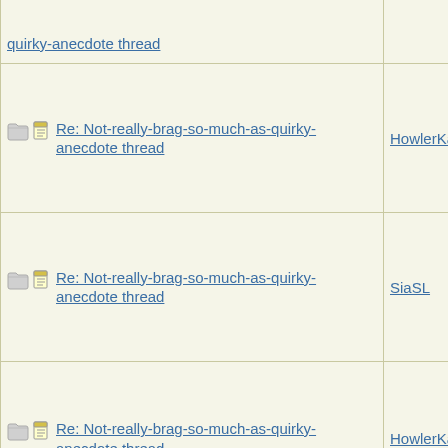| Subject | Author |
| --- | --- |
| Re: Not-really-brag-so-much-as-quirky-anecdote thread | HowlerKa |
| Re: Not-really-brag-so-much-as-quirky-anecdote thread | SiaSL |
| Re: Not-really-brag-so-much-as-quirky-anecdote thread | HowlerKa |
| Re: Not-really-brag-so-much-as-quirky-anecdote thread | QT3.1414 |
| Re: Not-really-brag-so-much-as-quirky-anecdote thread | doubtfulg |
| Re: Not-really-brag-so-much-as-quirky-anecdote thread | QT3.1414 |